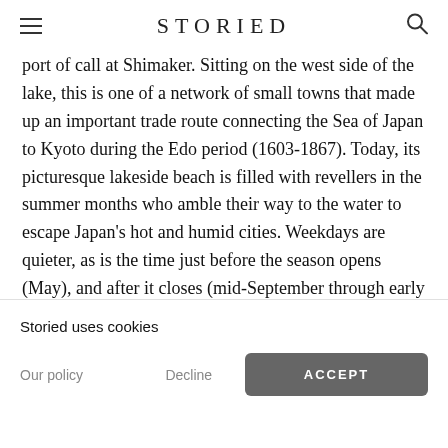STORIED
port of call at Shimaker. Sitting on the west side of the lake, this is one of a network of small towns that made up an important trade route connecting the Sea of Japan to Kyoto during the Edo period (1603-1867). Today, its picturesque lakeside beach is filled with revellers in the summer months who amble their way to the water to escape Japan's hot and humid cities. Weekdays are quieter, as is the time just before the season opens (May), and after it closes (mid-September through early October), when you'll often find yourself alone on the beach, soaking in the scenery and the sun's rays. Head up into the
Storied uses cookies
Our policy
Decline
ACCEPT